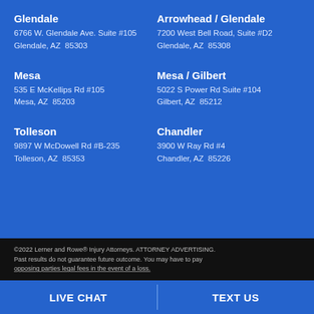Glendale
6766 W. Glendale Ave. Suite #105
Glendale, AZ  85303
Arrowhead / Glendale
7200 West Bell Road, Suite #D2
Glendale, AZ  85308
Mesa
535 E McKellips Rd #105
Mesa, AZ  85203
Mesa / Gilbert
5022 S Power Rd Suite #104
Gilbert, AZ  85212
Tolleson
9897 W McDowell Rd #B-235
Tolleson, AZ  85353
Chandler
3900 W Ray Rd #4
Chandler, AZ  85226
©2022 Lerner and Rowe® Injury Attorneys. ATTORNEY ADVERTISING. Past results do not guarantee future outcome. You may have to pay opposing parties legal fees in the event of a loss.
LIVE CHAT    TEXT US